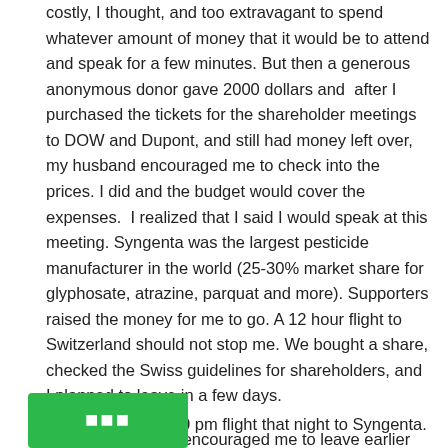costly, I thought, and too extravagant to spend whatever amount of money that it would be to attend and speak for a few minutes. But then a generous anonymous donor gave 2000 dollars and after I purchased the tickets for the shareholder meetings to DOW and Dupont, and still had money left over, my husband encouraged me to check into the prices. I did and the budget would cover the expenses. I realized that I said I would speak at this meeting. Syngenta was the largest pesticide manufacturer in the world (25-30% market share for glyphosate, atrazine, parquat and more). Supporters raised the money for me to go. A 12 hour flight to Switzerland should not stop me. We bought a share, checked the Swiss guidelines for shareholders, and I planned to leave in a few days.
Then my husband encouraged me to leave earlier instead of waiting. He wanted me to acclimate to the time zone and look around while I was there. What a husband. So on Saturday night [...]0 pm flight that night to Syngenta.